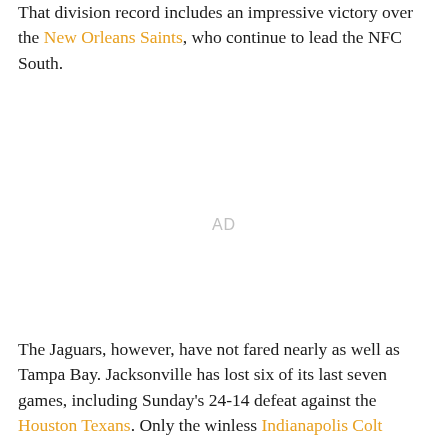That division record includes an impressive victory over the New Orleans Saints, who continue to lead the NFC South.
[Figure (other): AD placeholder / advertisement space]
The Jaguars, however, have not fared nearly as well as Tampa Bay. Jacksonville has lost six of its last seven games, including Sunday's 24-14 defeat against the Houston Texans. Only the winless Indianapolis Colts